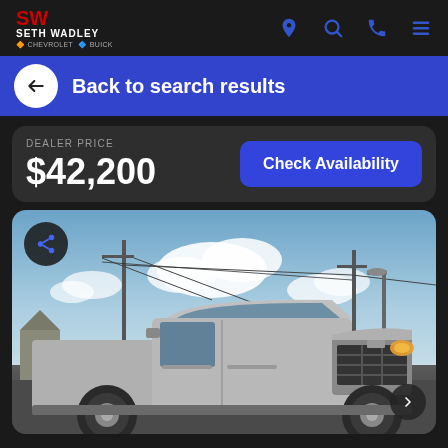SW SETH WADLEY Chevrolet Buick
Back to search results
DEALER PRICE $42,200
Check Availability
[Figure (photo): Silver RAM 1500 pickup truck photographed outdoors at a dealership lot, with utility poles, power lines, and a partly cloudy sky in the background.]